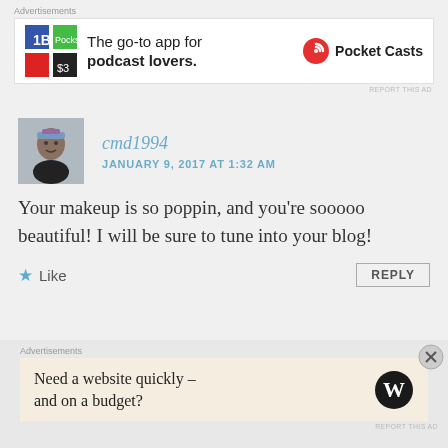Advertisements
[Figure (infographic): Pocket Casts ad: colorful app icon (red, green, blue, dark tiles), text 'The go-to app for podcast lovers.' with Pocket Casts logo and name]
REPORT THIS AD
[Figure (photo): Avatar photo of commenter cmd1994 — a person wearing a cap, selfie-style photo]
cmd1994
JANUARY 9, 2017 AT 1:32 AM
Your makeup is so poppin, and you’re sooooo beautiful! I will be sure to tune into your blog!
Like
REPLY
LEAVE A REPLY
Advertisements
[Figure (infographic): WordPress ad: text 'Need a website quickly – and on a budget?' with WordPress logo (W in circle)]
REPORT THIS AD